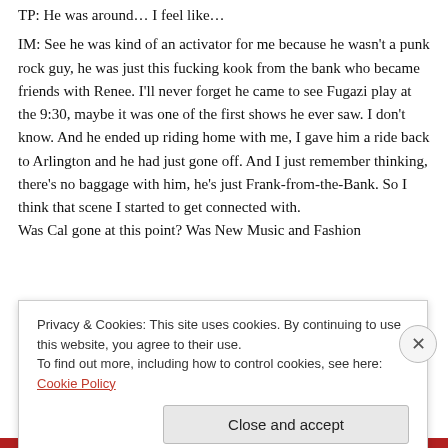TP: He was around… I feel like…
IM: See he was kind of an activator for me because he wasn't a punk rock guy, he was just this fucking kook from the bank who became friends with Renee. I'll never forget he came to see Fugazi play at the 9:30, maybe it was one of the first shows he ever saw. I don't know. And he ended up riding home with me, I gave him a ride back to Arlington and he had just gone off. And I just remember thinking, there's no baggage with him, he's just Frank-from-the-Bank. So I think that scene I started to get connected with.
Was Cal gone at this point? Was New Music and Fashion
Privacy & Cookies: This site uses cookies. By continuing to use this website, you agree to their use.
To find out more, including how to control cookies, see here: Cookie Policy
Close and accept